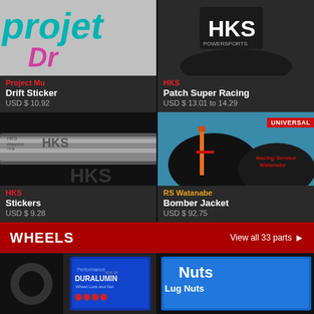[Figure (photo): Project Mu Drift Sticker product image on dark background]
Project Mu
Drift Sticker
USD $ 10.92
[Figure (photo): HKS Patch Super Racing product on dark jacket]
HKS
Patch Super Racing
USD $ 13.01 to 14.29
[Figure (photo): HKS Stickers on metallic surface]
HKS
Stickers
USD $ 9.28
[Figure (photo): RS Watanabe Bomber Jacket in black with red Racing Service Watanabe embroidery, UNIVERSAL badge]
RS Watanabe
Bomber Jacket
USD $ 92.75
WHEELS
View all 33 parts
[Figure (photo): Performance Duralumin Wheel Lock and Nut product packaging]
[Figure (photo): Lug Nuts product packaging]